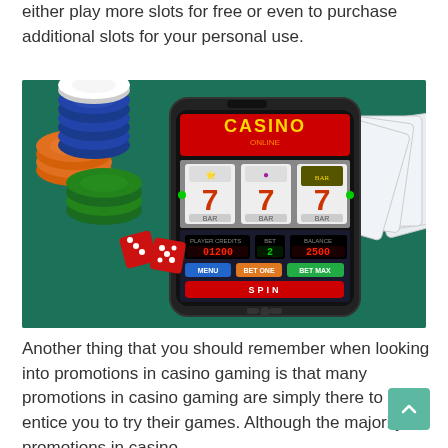either play more slots for free or even to purchase additional slots for your personal use.
[Figure (photo): A smartphone displaying a casino slots game app showing 777 with CASINO ONLINE label, surrounded by poker chips (orange, blue, white, green), playing cards fanned out showing aces, and red dice on a dark green background.]
Another thing that you should remember when looking into promotions in casino gaming is that many promotions in casino gaming are simply there to entice you to try their games. Although the majority of promotions in casino gaming are free to enter and certainly not worth your time...